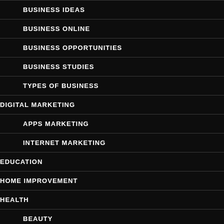BUSINESS IDEAS
BUSINESS ONLINE
BUSINESS OPPORTUNITIES
BUSINESS STUDIES
TYPES OF BUSINESS
DIGITAL MARKETING
APPS MARKETING
INTERNET MARKETING
EDUCATION
HOME IMPROVEMENT
HEALTH
BEAUTY